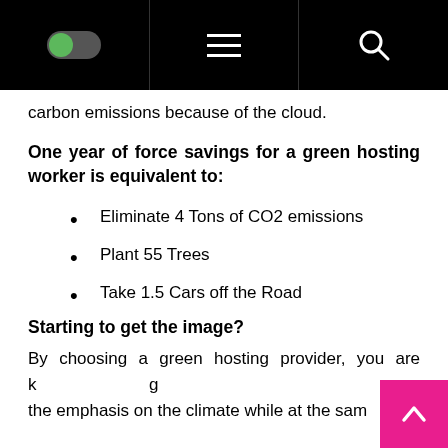[toggle icon] [hamburger menu] [search icon]
carbon emissions because of the cloud.
One year of force savings for a green hosting worker is equivalent to:
Eliminate 4 Tons of CO2 emissions
Plant 55 Trees
Take 1.5 Cars off the Road
Starting to get the image?
By choosing a green hosting provider, you are k[eping] the emphasis on the climate while at the same time